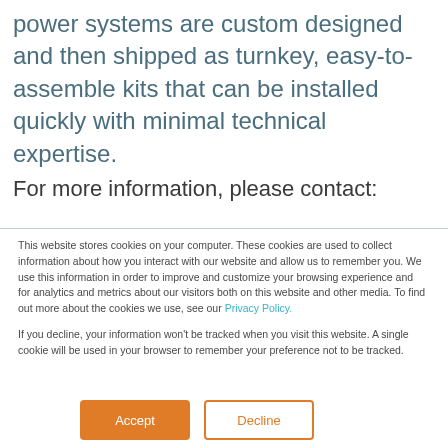power systems are custom designed and then shipped as turnkey, easy-to-assemble kits that can be installed quickly with minimal technical expertise.
For more information, please contact:
This website stores cookies on your computer. These cookies are used to collect information about how you interact with our website and allow us to remember you. We use this information in order to improve and customize your browsing experience and for analytics and metrics about our visitors both on this website and other media. To find out more about the cookies we use, see our Privacy Policy.
If you decline, your information won't be tracked when you visit this website. A single cookie will be used in your browser to remember your preference not to be tracked.